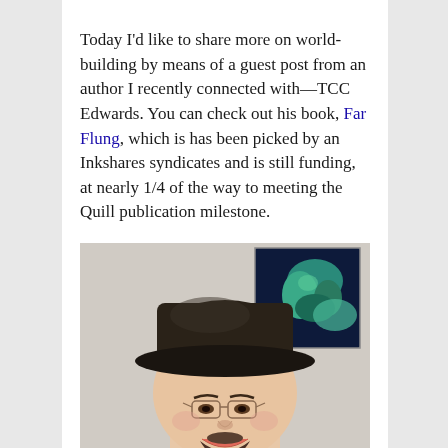Today I'd like to share more on world-building by means of a guest post from an author I recently connected with—TCC Edwards. You can check out his book, Far Flung, which is has been picked by an Inkshares syndicates and is still funding, at nearly 1/4 of the way to meeting the Quill publication milestone.
[Figure (photo): Photo of a man wearing a dark brimmed hat and glasses, smiling. Behind him on the right is a colorful painting with teal and green figures on a dark background.]